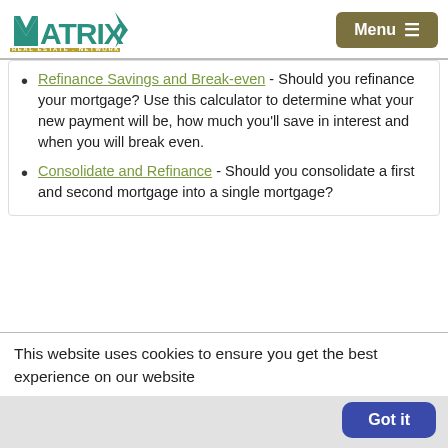Matrix Real Estate Network — Menu
Refinance Savings and Break-even - Should you refinance your mortgage? Use this calculator to determine what your new payment will be, how much you'll save in interest and when you will break even.
Consolidate and Refinance - Should you consolidate a first and second mortgage into a single mortgage?
This website uses cookies to ensure you get the best experience on our website